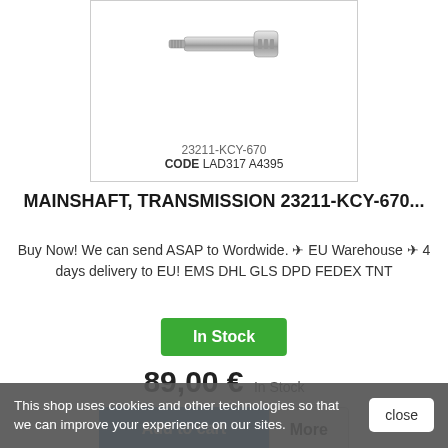[Figure (photo): Product photo of a mainshaft transmission part, metallic cylindrical component shown at top]
23211-KCY-670
CODE LAD317 A4395
MAINSHAFT, TRANSMISSION 23211-KCY-670...
Buy Now! We can send ASAP to Wordwide. ✈ EU Warehouse ✈ 4 days delivery to EU! EMS DHL GLS DPD FEDEX TNT
In Stock
89,00 € In Stock
Add to cart
More
This shop uses cookies and other technologies so that we can improve your experience on our sites.
close